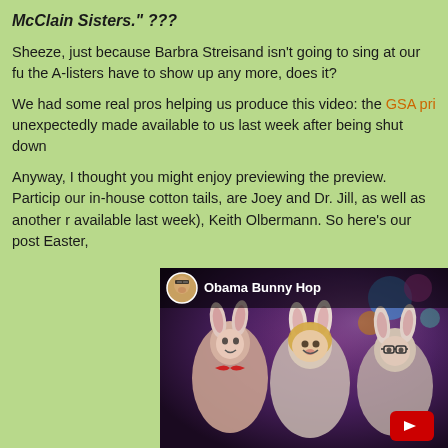McClain Sisters." ???
Sheeze, just because Barbra Streisand isn't going to sing at our fu... the A-listers have to show up any more, does it?
We had some real pros helping us produce this video: the GSA pri... unexpectedly made available to us last week after being shut down...
Anyway, I thought you might enjoy previewing the preview. Particip... our in-house cotton tails, are Joey and Dr. Jill, as well as another r... available last week), Keith Olbermann. So here's our post Easter,...
[Figure (screenshot): YouTube video thumbnail showing 'Obama Bunny Hop' with people dressed in bunny costumes, YouTube play button visible in bottom right corner]